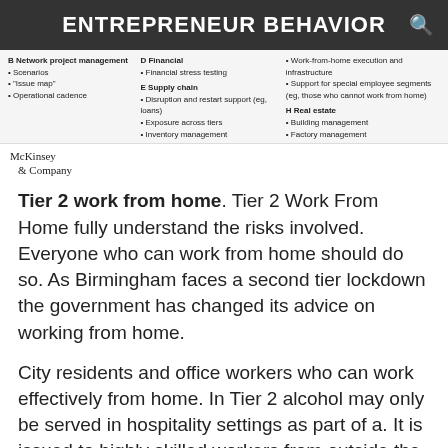ENTREPRENEUR BEHAVIOR
B Network project management • Scenarios • "Issue map" • Operational cadence
D Financial • Financial stress testing
E Supply chain • Disruption and restart support (eg, loans) • Exposure across tiers • Inventory management
Work-from-home execution and infrastructure • Support for special employee segments (eg, those who cannot work from home)
H Real estate • Building management • Factory management
[Figure (logo): McKinsey & Company logo]
Tier 2 work from home. Tier 2 Work From Home fully understand the risks involved. Everyone who can work from home should do so. As Birmingham faces a second tier lockdown the government has changed its advice on working from home.
City residents and office workers who can work effectively from home. In Tier 2 alcohol may only be served in hospitality settings as part of a. It is issued to highly skilled workers from outside the European Economic Area and Switzerland who have a job offer for a skilled job or a job in the Shortage List.